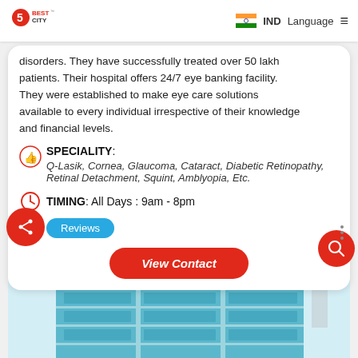5 Best City | IND | Language
disorders. They have successfully treated over 50 lakh patients. Their hospital offers 24/7 eye banking facility. They were established to make eye care solutions available to every individual irrespective of their knowledge and financial levels.
SPECIALITY: Q-Lasik, Cornea, Glaucoma, Cataract, Diabetic Retinopathy, Retinal Detachment, Squint, Amblyopia, Etc.
TIMING: All Days : 9am - 8pm
Reviews
View Contact
[Figure (photo): Building exterior with blue glass facade]